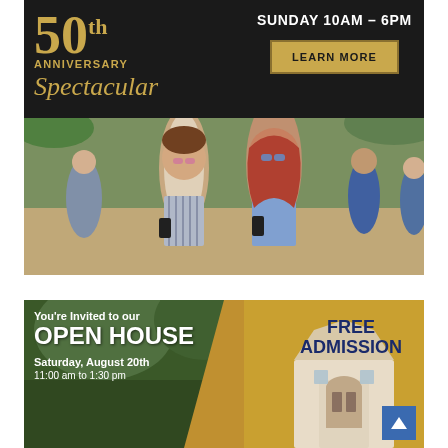[Figure (infographic): Dark background advertisement banner for a 50th Anniversary Spectacular event. Gold text reads '50th ANNIVERSARY Spectacular'. Right side shows 'SUNDAY 10AM - 6PM' in white bold text and a gold 'LEARN MORE' button.]
[Figure (photo): Photograph of two smiling women wearing sunglasses holding drinks at an outdoor event. Other people visible in the background.]
[Figure (infographic): Open House advertisement. Left side has dark green background with white text 'You're Invited to our OPEN HOUSE' and 'Saturday, August 20th 11:00 am to 1:30 pm'. Right side has gold/yellow background with dark blue text 'FREE ADMISSION'. A building illustration is visible. Blue scroll-up button in bottom right corner.]